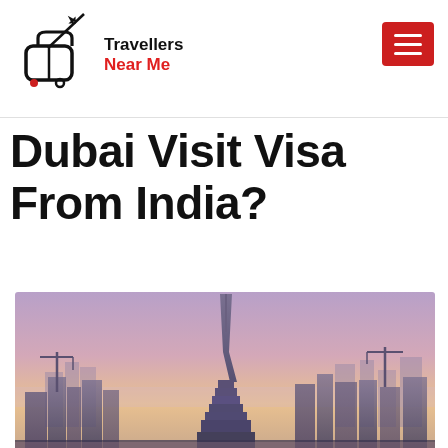Travellers Near Me
Dubai Visit Visa From India?
[Figure (photo): Dubai skyline at dusk with Burj Khalifa prominently in the center, city buildings, cranes, and a pink-purple sky in the background.]